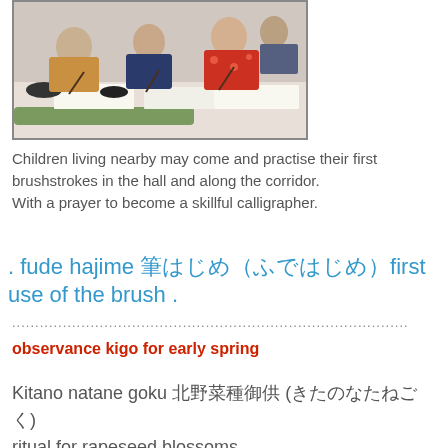[Figure (photo): Children in traditional Japanese clothing (kimono and hakama) sitting at tables practicing calligraphy with brushes in a hall]
Children living nearby may come and practise their first brushstrokes in the hall and along the corridor.
With a prayer to become a skillful calligrapher.
. fude hajime 筆はじめfirst use of the brush .
......................................................................................
observance kigo for early spring
Kitano natane goku 北野菜種御供 (北野菜種御供)
ritual for rapeseed blossoms